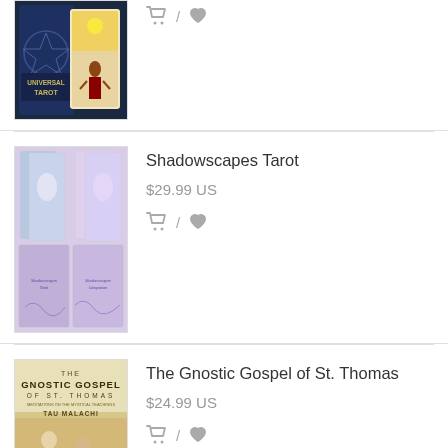[Figure (photo): Universal Tarot book/card set product image showing dark blue tarot deck packaging]
🛒 / ♥
[Figure (photo): Shadowscapes Tarot product image showing fantasy illustrated tarot cards with ethereal figures]
Shadowscapes Tarot
$29.99 US
🛒 / ♥
[Figure (photo): The Gnostic Gospel of St. Thomas book cover by Tau Malachi showing two robed figures]
The Gnostic Gospel of St. Thomas
$24.99 US
🛒 / ♥